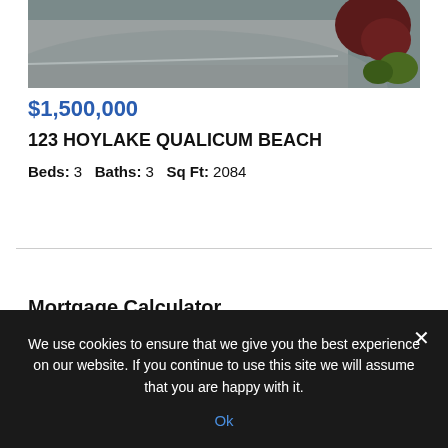[Figure (photo): Aerial or exterior photo of a property showing a driveway and landscaping with a dark red shrub in the upper right corner]
$1,500,000
123 HOYLAKE QUALICUM BEACH
Beds: 3   Baths: 3   Sq Ft: 2084
Mortgage Calculator
We use cookies to ensure that we give you the best experience on our website. If you continue to use this site we will assume that you are happy with it.
Ok